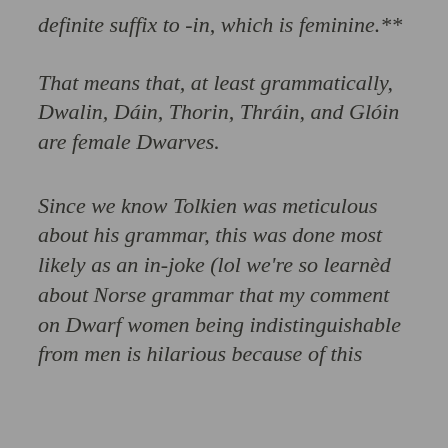definite suffix to -in, which is feminine.**
That means that, at least grammatically, Dwalin, Dáin, Thorin, Thráin, and Glóin are female Dwarves.
Since we know Tolkien was meticulous about his grammar, this was done most likely as an in-joke (lol we're so learnèd about Norse grammar that my comment on Dwarf women being indistinguishable from men is hilarious because of this